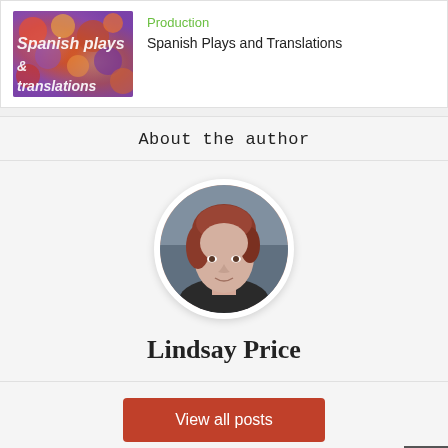[Figure (illustration): Colorful yarn/knitting image with text 'Spanish plays & translations' overlaid in white italic bold font]
Production
Spanish Plays and Translations
About the author
[Figure (photo): Circular avatar photo of a woman with reddish hair]
Lindsay Price
View all posts
[Figure (other): Social icons: link, facebook, twitter]